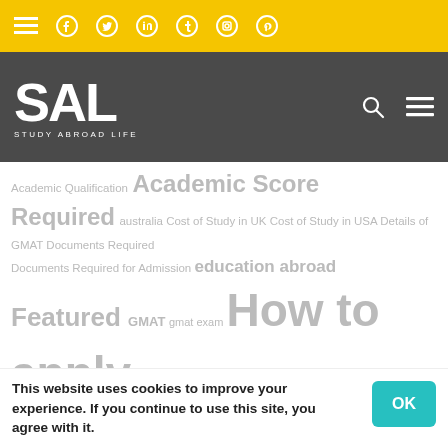Study Abroad Life - navigation bar with social icons and logo
[Figure (screenshot): Website header with yellow top bar containing hamburger menu and social media icons (Facebook, Twitter, LinkedIn, Tumblr, Instagram, Pinterest), and dark gray nav bar with SAL Study Abroad Life logo, search icon, and menu icon]
Academic Qualification Academic Score Required australia Cost of Study in UK Cost of Study in USA Details of GMAT Documents Required Documents Required for Admission education abroad Featured GMAT gmat exam How to apply Ielts Coaching in Nagpur IELTS Exam IELTS Score Required international students overseas education Overseas education consultants Scholarships study abroad study abroad consultants study abroad consultants in nagpur study abroad life Study Abroad Programs Study in Australia study in canada study in germany study in new zealand study in singapore study in uk study in usa
This website uses cookies to improve your experience. If you continue to use this site, you agree with it.